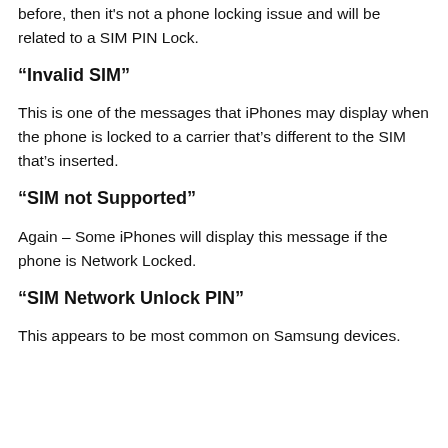before, then it's not a phone locking issue and will be related to a SIM PIN Lock.
“Invalid SIM”
This is one of the messages that iPhones may display when the phone is locked to a carrier that’s different to the SIM that’s inserted.
“SIM not Supported”
Again – Some iPhones will display this message if the phone is Network Locked.
“SIM Network Unlock PIN”
This appears to be most common on Samsung devices.